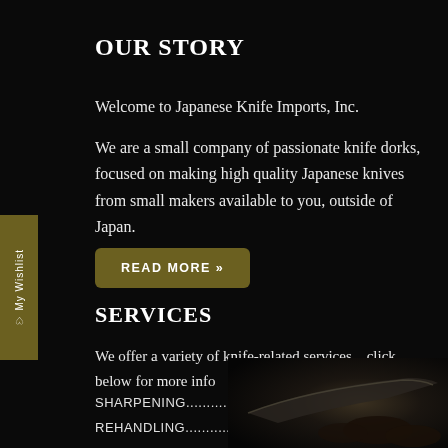OUR STORY
Welcome to Japanese Knife Imports, Inc.
We are a small company of passionate knife dorks, focused on making high quality Japanese knives from small makers available to you, outside of Japan.
READ MORE »
SERVICES
We offer a variety of knife-related services... click below for more info
SHARPENING..........................»
REHANDLING.........................»
[Figure (photo): Close-up dark photo of a knife blade and hands in the background]